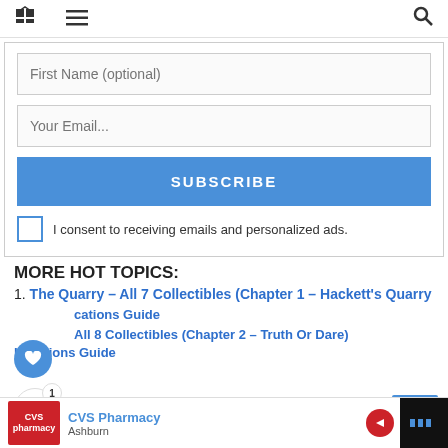Home | Menu | Search
First Name (optional)
Your Email...
SUBSCRIBE
I consent to receiving emails and personalized ads.
MORE HOT TOPICS:
The Quarry – All 7 Collectibles (Chapter 1 – Hackett's Quarry) Locations Guide
All 8 Collectibles (Chapter 2 – Truth Or Dare) Locations Guide
WHAT'S NEXT → The Quarry – All 5...
CVS Pharmacy Ashburn